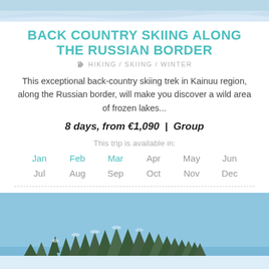[Figure (photo): Top banner photo of snowy back-country skiing landscape]
BACK COUNTRY SKIING ALONG THE RUSSIAN BORDER
HIKING / SKIING / WINTER
This exceptional back-country skiing trek in Kainuu region, along the Russian border, will make you discover a wild area of frozen lakes...
8 days, from €1,090 | Group
This trip is available in:
Jan Feb Mar Apr May Jun Jul Aug Sep Oct Nov Dec
[Figure (photo): Winter landscape photo with blue sky, snow-covered pine trees along the Russian border in Kainuu region]